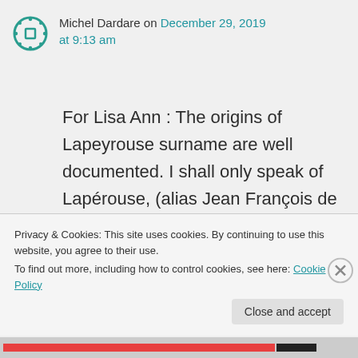Michel Dardare on December 29, 2019 at 9:13 am
For Lisa Ann : The origins of Lapeyrouse surname are well documented. I shall only speak of Lapérouse, (alias Jean François de Galaup comte de La Pérouse 1741-1788), a french marine officer who fought against the English forces (battle of Hudson Bay on 1782) for
Privacy & Cookies: This site uses cookies. By continuing to use this website, you agree to their use. To find out more, including how to control cookies, see here: Cookie Policy